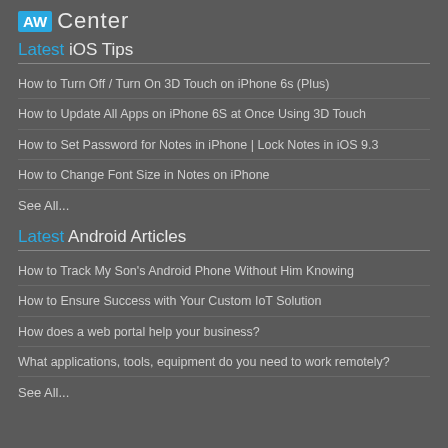AW Center
Latest iOS Tips
How to Turn Off / Turn On 3D Touch on iPhone 6s (Plus)
How to Update All Apps on iPhone 6S at Once Using 3D Touch
How to Set Password for Notes in iPhone | Lock Notes in iOS 9.3
How to Change Font Size in Notes on iPhone
See All...
Latest Android Articles
How to Track My Son's Android Phone Without Him Knowing
How to Ensure Success with Your Custom IoT Solution
How does a web portal help your business?
What applications, tools, equipment do you need to work remotely?
See All...